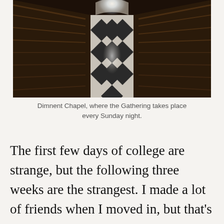[Figure (photo): Interior of Dimnent Chapel showing a long central aisle with wooden pews on both sides, a black and white diamond-patterned floor, and bright light at the far end of the corridor.]
Dimnent Chapel, where the Gathering takes place every Sunday night.
The first few days of college are strange, but the following three weeks are the strangest. I made a lot of friends when I moved in, but that's not the hard part.